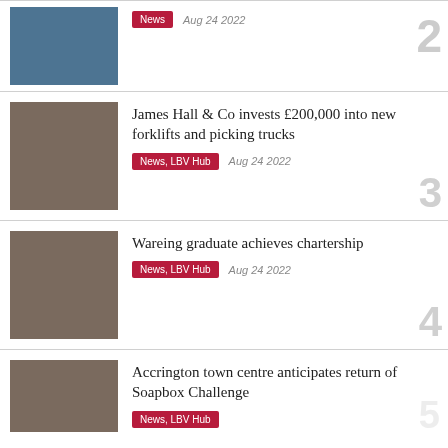[Figure (photo): Thumbnail image, blue/slate color placeholder]
News · Aug 24 2022 · [rank 2]
[Figure (photo): Thumbnail image, brown/taupe color placeholder]
James Hall & Co invests £200,000 into new forklifts and picking trucks · News, LBV Hub · Aug 24 2022 · [rank 3]
[Figure (photo): Thumbnail image, brown/taupe color placeholder]
Wareing graduate achieves chartership · News, LBV Hub · Aug 24 2022 · [rank 4]
[Figure (photo): Thumbnail image, brown/taupe color placeholder]
Accrington town centre anticipates return of Soapbox Challenge · News, LBV Hub · [rank 5 partial]